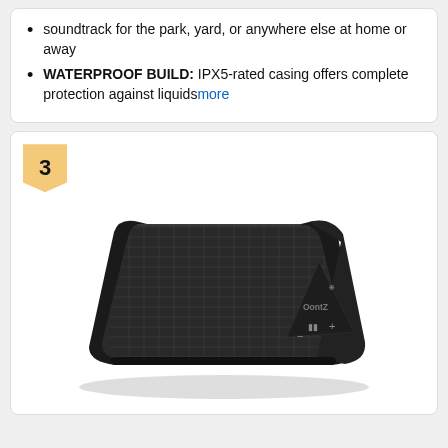soundtrack for the park, yard, or anywhere else at home or away
WATERPROOF BUILD: IPX5-rated casing offers complete protection against liquids more
[Figure (photo): Black triangular portable Bluetooth speaker (OontZ brand) with fabric mesh front, rubber end caps with control buttons, shown at an angle on a white background, ranked #3]
3